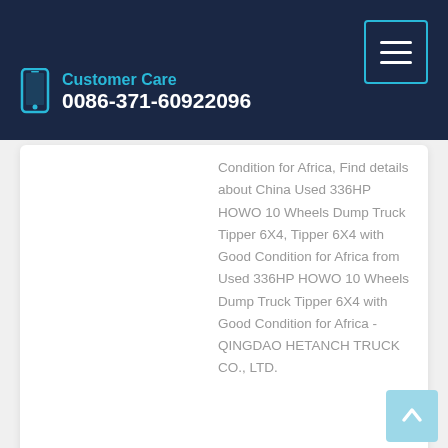Customer Care 0086-371-60922096
Condition for Africa, Find details about China Used 336HP HOWO 10 Wheels Dump Truck Tipper 6X4, Tipper 6X4 with Good Condition for Africa from Used 336HP HOWO 10 Wheels Dump Truck Tipper 6X4 with Good Condition for Africa - QINGDAO HETANCH TRUCK CO., LTD.
Learn More
Sinotruk HOWO 25ton